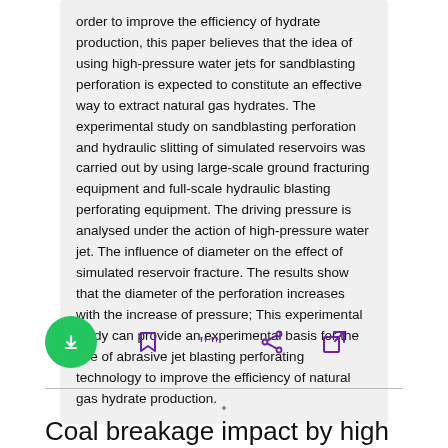order to improve the efficiency of hydrate production, this paper believes that the idea of using high-pressure water jets for sandblasting perforation is expected to constitute an effective way to extract natural gas hydrates. The experimental study on sandblasting perforation and hydraulic slitting of simulated reservoirs was carried out by using large-scale ground fracturing equipment and full-scale hydraulic blasting perforating equipment. The driving pressure is analysed under the action of high-pressure water jet. The influence of diameter on the effect of simulated reservoir fracture. The results show that the diameter of the perforation increases with the increase of pressure; This experimental study can provide an experimental basis for the use of abrasive jet blasting perforating technology to improve the efficiency of natural gas hydrate production.
[Figure (other): Action bar with download button (green circle with down arrow) and icons for bookmark, quote, share, and external link in purple]
Coal breakage impact by high pressure